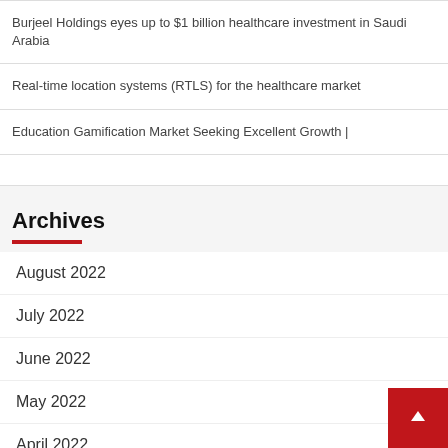Burjeel Holdings eyes up to $1 billion healthcare investment in Saudi Arabia
Real-time location systems (RTLS) for the healthcare market
Education Gamification Market Seeking Excellent Growth |
Archives
August 2022
July 2022
June 2022
May 2022
April 2022
March 2022
February 2022